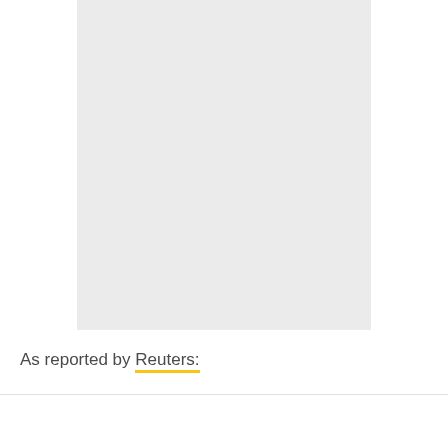[Figure (other): Large light gray placeholder image rectangle]
As reported by Reuters: